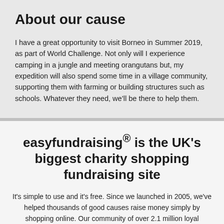About our cause
I have a great opportunity to visit Borneo in Summer 2019, as part of World Challenge. Not only will I experience camping in a jungle and meeting orangutans but, my expedition will also spend some time in a village community, supporting them with farming or building structures such as schools. Whatever they need, we’ll be there to help them.
easyfundraising® is the UK’s biggest charity shopping fundraising site
It’s simple to use and it’s free. Since we launched in 2005, we’ve helped thousands of good causes raise money simply by shopping online. Our community of over 2.1 million loyal supporters has so far raised over £40 million.